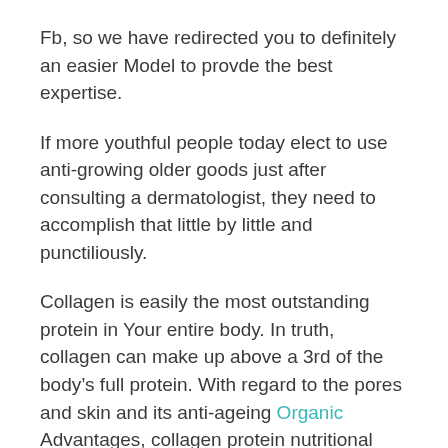Fb, so we have redirected you to definitely an easier Model to provde the best expertise.
If more youthful people today elect to use anti-growing older goods just after consulting a dermatologist, they need to accomplish that little by little and punctiliously.
Collagen is easily the most outstanding protein in Your entire body. In truth, collagen can make up above a 3rd of the body's full protein. With regard to the pores and skin and its anti-ageing Organic Advantages, collagen protein nutritional supplements are essential as they have compounds and Lively elements which Increase the human body's normal collagen-creating skills. The greater collagen you'll be able to produce, the more youthful the pores and skin will look. fourteen.